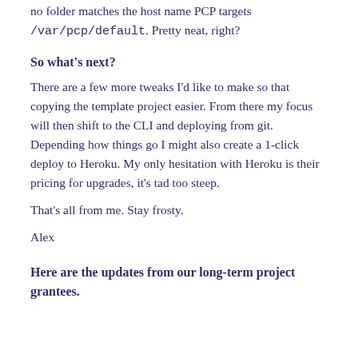no folder matches the host name PCP targets /var/pcp/default. Pretty neat, right?
So what's next?
There are a few more tweaks I'd like to make so that copying the template project easier. From there my focus will then shift to the CLI and deploying from git. Depending how things go I might also create a 1-click deploy to Heroku. My only hesitation with Heroku is their pricing for upgrades, it's tad too steep.
That's all from me. Stay frosty.
Alex
Here are the updates from our long-term project grantees.